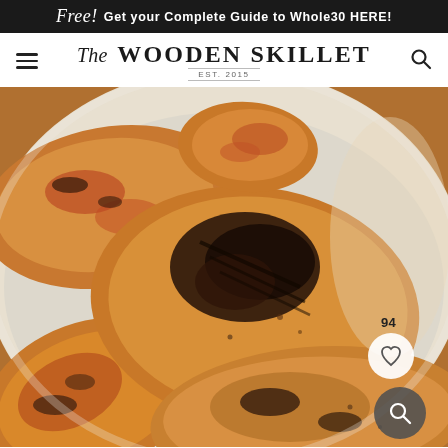Free! Get your Complete Guide to Whole30 HERE!
[Figure (logo): The Wooden Skillet logo with hamburger menu icon and search icon]
[Figure (photo): Close-up overhead photo of seasoned grilled or baked chicken pieces on a white plate, showing charred spice-rubbed skin with golden brown color. UI overlays show 94 saves, a heart/save button, and a search button.]